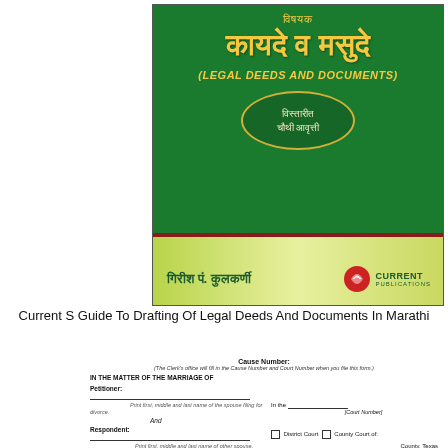[Figure (illustration): Book cover of 'विषयक कायदे व मसुदे (Legal Deeds and Documents)' published by Current Publications, authored by Girish P. Kulkarni. Green background with gold Devanagari title text, subtitle in oval, and green gradient bottom band with publisher logo.]
Current S Guide To Drafting Of Legal Deeds And Documents In Marathi
Cause Number:
(The Clerk's office will fill in the Cause Number and Court Number when you file this form.)
IN THE MATTER OF THE MARRIAGE OF
Petitioner: ___ Print first, middle and last name of the spouse filing for divorce.
And
Respondent: ___ Print first, middle and last name of other spouse.
In the [Court Number]
□ District Court □ County Court of:
___ County, Texas